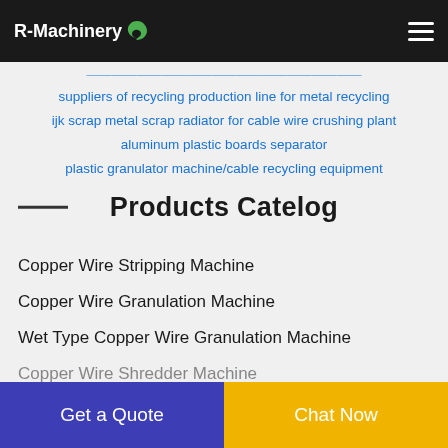R-Machinery
suppliers of recycling production line for metal recycling
ijk scrap metal scrap radiator for cable wire crushing plant
aluminum plastic boards separator
plastic granulator machine/cable recycling equipment
Products Catelog
Copper Wire Stripping Machine
Copper Wire Granulation Machine
Wet Type Copper Wire Granulation Machine
Copper Wire Shredder Machine
Get a Quote | Chat Now